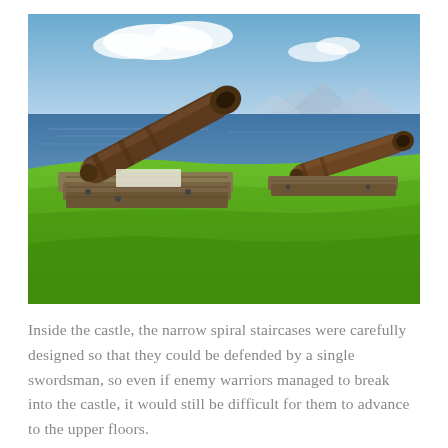[Figure (photo): Two old iron cannons mounted on wooden carriages on a green grassy hillside overlooking a blue sea and mountains in the background under a partly cloudy sky.]
Inside the castle, the narrow spiral staircases were carefully designed so that they could be defended by a single swordsman, so even if enemy warriors managed to break into the castle, it would still be difficult for them to advance to the upper floors.